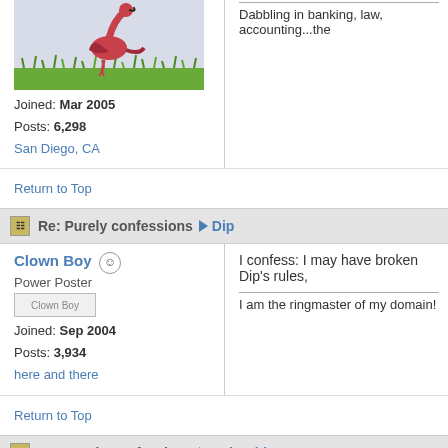[Figure (illustration): Flamingo bird standing in grass, pink/red color]
Joined: Mar 2005
Posts: 6,298
San Diego, CA
Dabbling in banking, law, accounting...the
Return to Top
Re: Purely confessions → Dip
Clown Boy
Power Poster
Joined: Sep 2004
Posts: 3,934
here and there
I confess: I may have broken Dip's rules,
I am the ringmaster of my domain!
Return to Top
Re: Purely confessions → Pale Rider
pjs
10K Club
Originally Posted By: Pale Rider